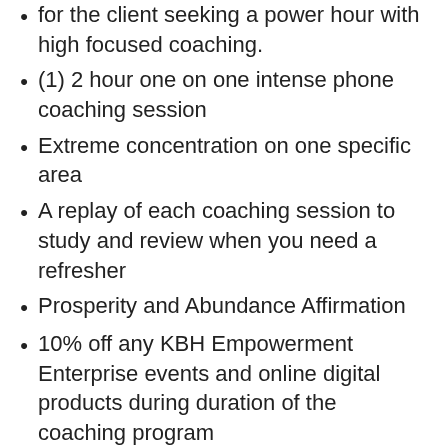for the client seeking a power hour with high focused coaching.
(1) 2 hour one on one intense phone coaching session
Extreme concentration on one specific area
A replay of each coaching session to study and review when you need a refresher
Prosperity and Abundance Affirmation
10% off any KBH Empowerment Enterprise events and online digital products during duration of the coaching program
Group Coaching
Begins with an announcement of the specialized program via Website, Social Media
Key Preferred Client Email list...